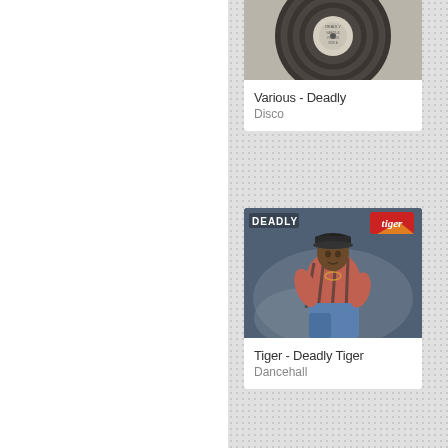[Figure (photo): Album cover: vinyl record label, grey/white color, text partially visible]
Various - Deadly
Disco
[Figure (photo): Album cover: Tiger - Deadly Tiger, showing a man in a striped pink/dark shirt and jeans, leaning forward, wearing a cap. DEADLY text top left, Tiger logo top right.]
Tiger - Deadly Tiger
Dancehall